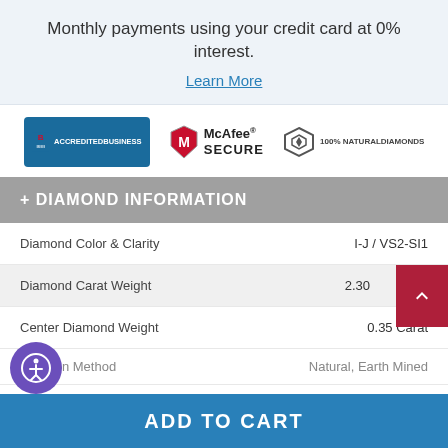Monthly payments using your credit card at 0% interest.
Learn More
[Figure (logo): BBB Accredited Business logo, McAfee Secure logo, 100% Natural Diamonds badge]
+ DIAMOND INFORMATION
| Property | Value |
| --- | --- |
| Diamond Color & Clarity | I-J / VS2-SI1 |
| Diamond Carat Weight | 2.30 |
| Center Diamond Weight | 0.35 Carat |
| Creation Method | Natural, Earth Mined |
| Diamond Cut | Very Good |
ADD TO CART